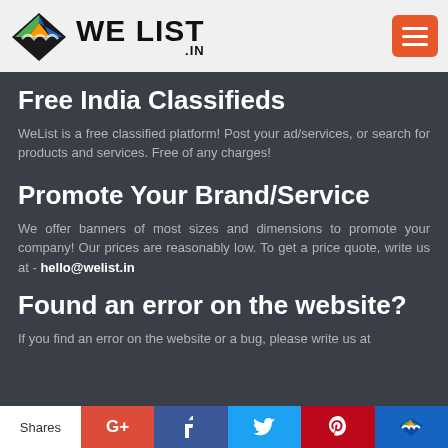We List .in
Free India Classifieds
WeList is a free classified platform! Post your ad/services, or search for products and services. Free of any charges!
Promote Your Brand/Service
We offer banners of most sizes and dimensions to promote your company! Our prices are reasonably low. To get a price quote, write us at - hello@welist.in
Found an error on the website?
If you find an error on the website or a bug, please write us at
Shares  G+  f  t  P  [welist icon]